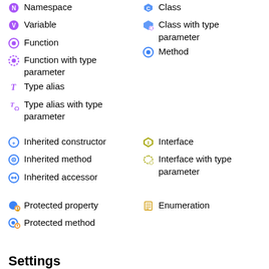Namespace
Class
Variable
Class with type parameter
Function
Method
Function with type parameter
Type alias
Type alias with type parameter
Inherited constructor
Interface
Inherited method
Interface with type parameter
Inherited accessor
Protected property
Enumeration
Protected method
Settings
Theme OS